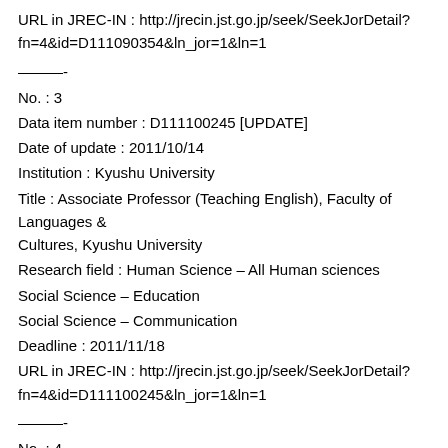URL in JREC-IN : http://jrecin.jst.go.jp/seek/SeekJorDetail?fn=4&id=D111090354&ln_jor=1&ln=1
———-
No. : 3
Data item number : D111100245 [UPDATE]
Date of update : 2011/10/14
Institution : Kyushu University
Title : Associate Professor (Teaching English), Faculty of Languages & Cultures, Kyushu University
Research field : Human Science – All Human sciences
Social Science – Education
Social Science – Communication
Deadline : 2011/11/18
URL in JREC-IN : http://jrecin.jst.go.jp/seek/SeekJorDetail?fn=4&id=D111100245&ln_jor=1&ln=1
———-
No. : 4